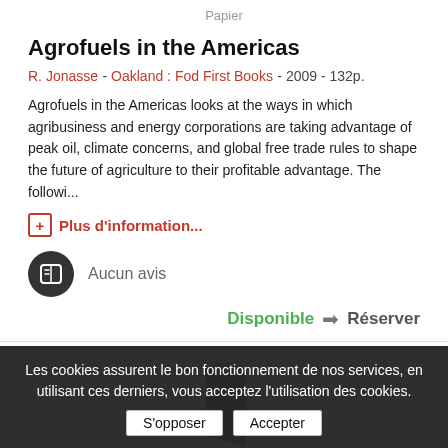Papier
Agrofuels in the Americas
R. Jonasse - Oakland : Fod First Books - 2009 - 132p.
Agrofuels in the Americas looks at the ways in which agribusiness and energy corporations are taking advantage of peak oil, climate concerns, and global free trade rules to shape the future of agriculture to their profitable advantage. The followi...
+ Plus d'information...
Aucun avis
Disponible  Réserver
[Figure (illustration): Book cover placeholder icon (grey open book shape)]
Les cookies assurent le bon fonctionnement de nos services, en utilisant ces derniers, vous acceptez l'utilisation des cookies.